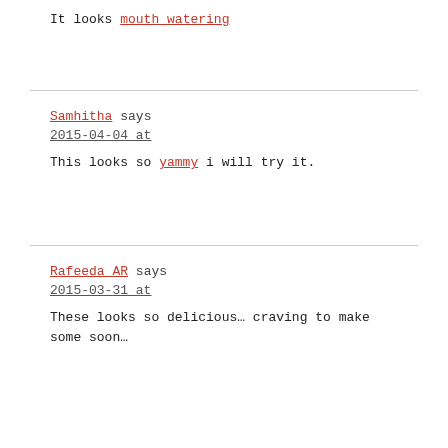It looks mouth watering
Samhitha says
2015-04-04 at
This looks so yammy i will try it.
Rafeeda AR says
2015-03-31 at
These looks so delicious… craving to make some soon…